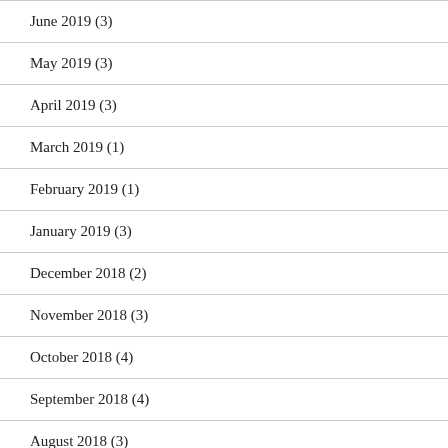June 2019 (3)
May 2019 (3)
April 2019 (3)
March 2019 (1)
February 2019 (1)
January 2019 (3)
December 2018 (2)
November 2018 (3)
October 2018 (4)
September 2018 (4)
August 2018 (3)